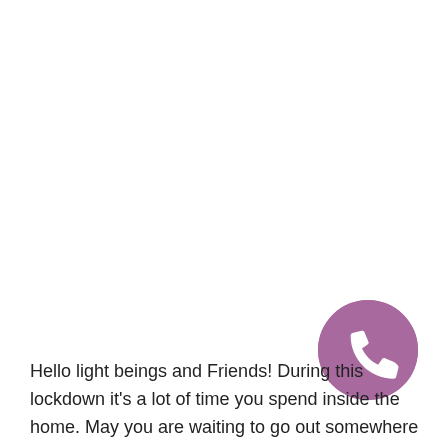[Figure (illustration): Purple circle with a white telephone/phone handset icon in the center]
Hello light beings and Friends! During this lockdown it's a lot of time you spend inside the home. May you are waiting to go out somewhere and get refreshed right? then we are holding a conscious space for you.